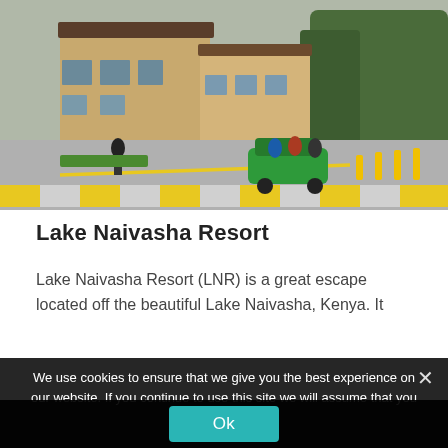[Figure (photo): Exterior photo of Lake Naivasha Resort showing a paved driveway with yellow speed bumps, a green open-top vehicle carrying passengers, landscaped grounds, and multi-story hotel buildings in the background.]
Lake Naivasha Resort
Lake Naivasha Resort (LNR) is a great escape located off the beautiful Lake Naivasha, Kenya. It boasts...
We use cookies to ensure that we give you the best experience on our website. If you continue to use this site we will assume that you are happy with it.